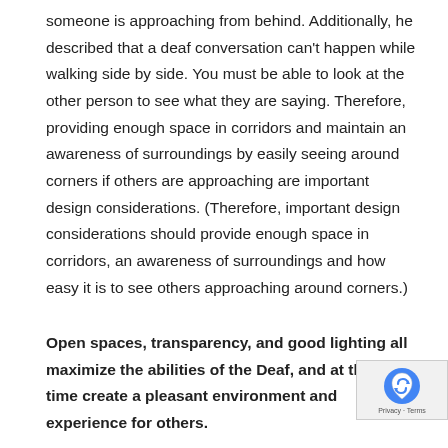someone is approaching from behind. Additionally, he described that a deaf conversation can't happen while walking side by side. You must be able to look at the other person to see what they are saying. Therefore, providing enough space in corridors and maintain an awareness of surroundings by easily seeing around corners if others are approaching are important design considerations. (Therefore, important design considerations should provide enough space in corridors, an awareness of surroundings and how easy it is to see others approaching around corners.)
Open spaces, transparency, and good lighting all maximize the abilities of the Deaf, and at the same time create a pleasant environment and experience for others.